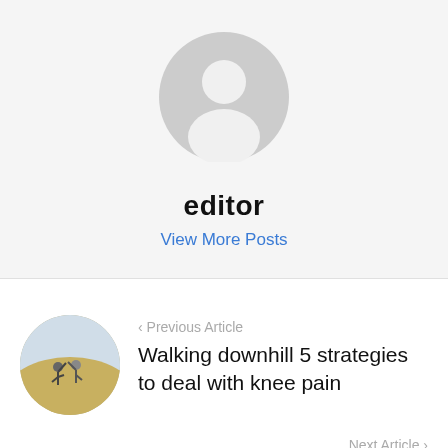[Figure (illustration): Generic user avatar icon — grey circle with white silhouette of a person (head and shoulders), centered in a light grey circular background]
editor
View More Posts
< Previous Article
[Figure (photo): Circular thumbnail photo of two people high-fiving outdoors in a golden field]
Walking downhill 5 strategies to deal with knee pain
Next Article >
The number of injuries due to post-
[Figure (photo): Circular thumbnail photo partially visible at bottom right, appears to show outdoor sports or activity scene with red/orange tones]